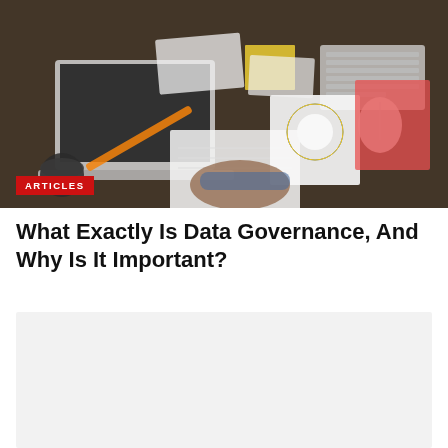[Figure (photo): Aerial/overhead view of a desk workspace with a laptop, notebooks, charts, documents, sticky notes, a donut chart on paper, keyboard, mouse, and a person writing in a notebook. The image has a dark overlay tint.]
ARTICLES
What Exactly Is Data Governance, And Why Is It Important?
[Figure (other): Gray placeholder/content box below the title.]